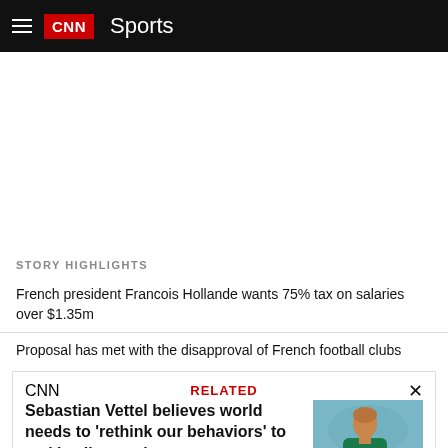CNN Sports
STORY HIGHLIGHTS
French president Francois Hollande wants 75% tax on salaries over $1.35m
Proposal has met with the disapproval of French football clubs
CNN RELATED × Sebastian Vettel believes world needs to 'rethink our behaviors' to tackle climate change